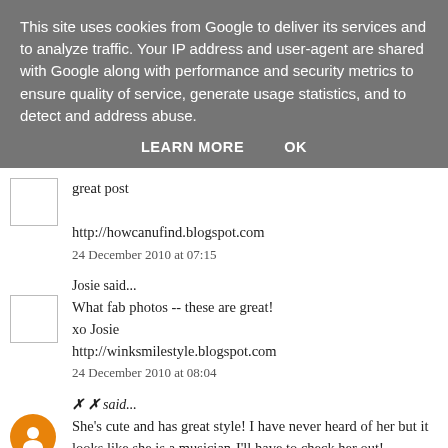This site uses cookies from Google to deliver its services and to analyze traffic. Your IP address and user-agent are shared with Google along with performance and security metrics to ensure quality of service, generate usage statistics, and to detect and address abuse.
LEARN MORE   OK
great post
http://howcanufind.blogspot.com
24 December 2010 at 07:15
Josie said...
What fab photos -- these are great!
xo Josie
http://winksmilestyle.blogspot.com
24 December 2010 at 08:04
✗ ✗ said...
She's cute and has great style! I have never heard of her but it looks like she is a musician-I'll have to check her out!
24 December 2010 at 09:51